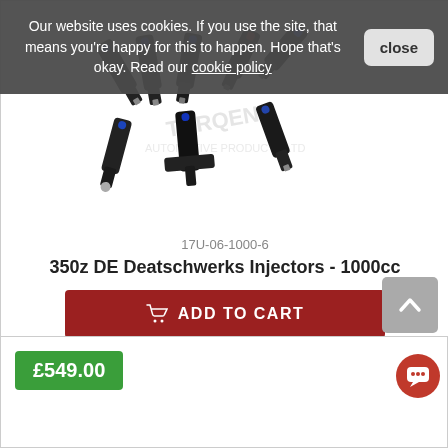Our website uses cookies. If you use the site, that means you're happy for this to happen. Hope that's okay. Read our cookie policy
[Figure (photo): Multiple fuel injectors (Deatschwerks 1000cc) arranged loosely, shown at angle on white background with watermarked logo]
17U-06-1000-6
350z DE Deatschwerks Injectors - 1000cc
ADD TO CART
£549.00